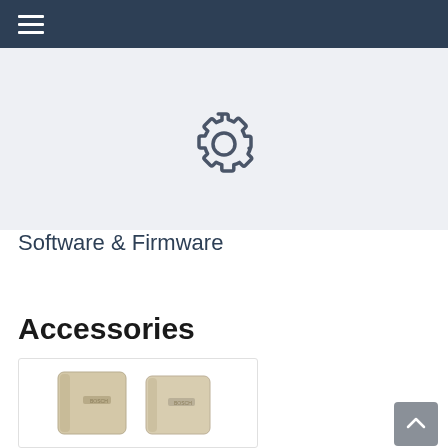Navigation menu bar
[Figure (illustration): Gear/settings icon partially visible on a light grey background card]
Software & Firmware
Accessories
[Figure (photo): Two beige/cream colored wall-mounted device covers or sensor housings shown side by side in a product card]
[Figure (illustration): Back to top arrow button (chevron up icon on grey square background)]